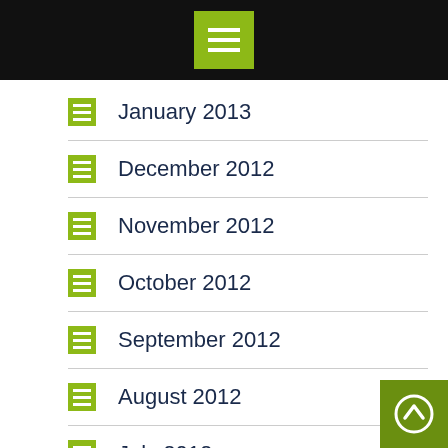[Figure (screenshot): Black top bar with green hamburger menu button]
January 2013
December 2012
November 2012
October 2012
September 2012
August 2012
July 2012
June 2012
May 2012
April 2012